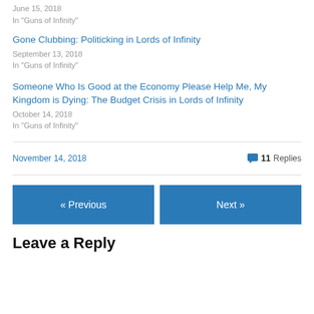June 15, 2018
In "Guns of Infinity"
Gone Clubbing: Politicking in Lords of Infinity
September 13, 2018
In "Guns of Infinity"
Someone Who Is Good at the Economy Please Help Me, My Kingdom is Dying: The Budget Crisis in Lords of Infinity
October 14, 2018
In "Guns of Infinity"
November 14, 2018
11 Replies
« Previous
Next »
Leave a Reply